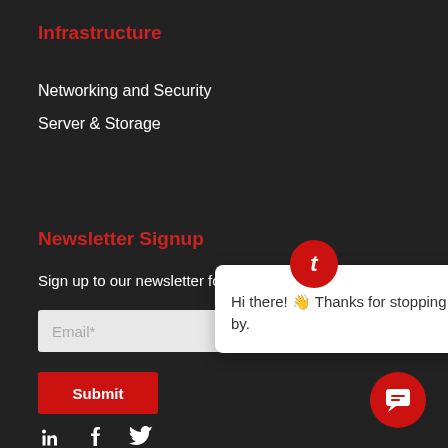Infrastructure
Networking and Security
Server & Storage
Newsletter Signup
Sign up to our newsletter for the latest
[Figure (screenshot): Email input field with placeholder text 'Email*']
[Figure (screenshot): Red Submit button]
[Figure (screenshot): Chat popup widget with message: Hi there! 👋 Thanks for stopping by. with red T logo icon and close X button]
[Figure (screenshot): Red circular chat bubble button in bottom right corner]
[Figure (screenshot): Social media icons: LinkedIn, Facebook, Twitter]